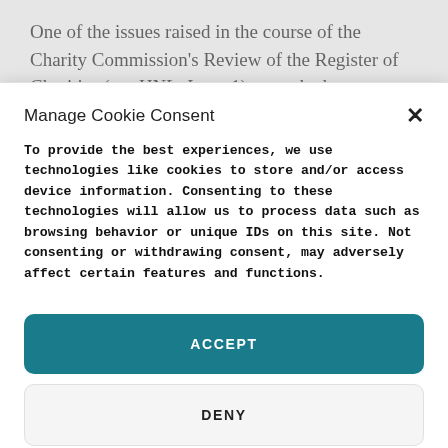One of the issues raised in the course of the Charity Commission's Review of the Register of Charities (see IJNL, Issue 1) was whether some special status could be accorded to village [text continues behind overlay]
Manage Cookie Consent
To provide the best experiences, we use technologies like cookies to store and/or access device information. Consenting to these technologies will allow us to process data such as browsing behavior or unique IDs on this site. Not consenting or withdrawing consent, may adversely affect certain features and functions.
ACCEPT
DENY
Privacy Policy & Terms of Use